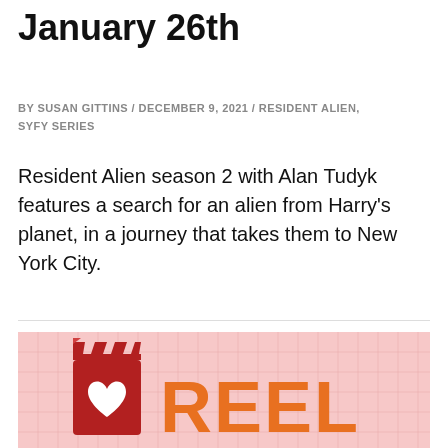January 26th
BY SUSAN GITTINS / DECEMBER 9, 2021 / RESIDENT ALIEN, SYFY SERIES
Resident Alien season 2 with Alan Tudyk features a search for an alien from Harry's planet, in a journey that takes them to New York City.
[Figure (logo): Reel Canada / Reel logo with dark red film clapper icon and orange REEL text on a pink grid background]